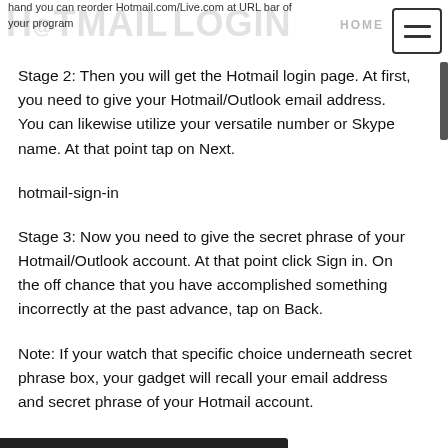HOTMAIL LOGIN — hand you can reorder Hotmail.com/Live.com at URL bar of your program
Stage 2: Then you will get the Hotmail login page. At first, you need to give your Hotmail/Outlook email address. You can likewise utilize your versatile number or Skype name. At that point tap on Next.
hotmail-sign-in
Stage 3: Now you need to give the secret phrase of your Hotmail/Outlook account. At that point click Sign in. On the off chance that you have accomplished something incorrectly at the past advance, tap on Back.
Note: If your watch that specific choice underneath secret phrase box, your gadget will recall your email address and secret phrase of your Hotmail account.